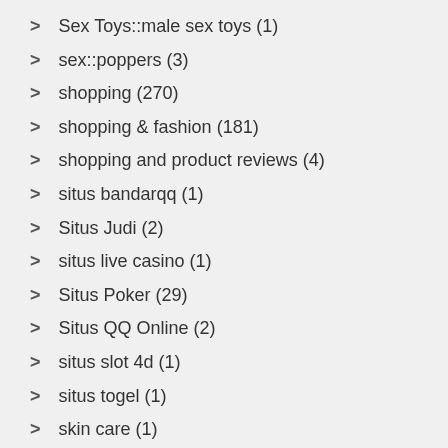Sex Toys::male sex toys (1)
sex::poppers (3)
shopping (270)
shopping & fashion (181)
shopping and product reviews (4)
situs bandarqq (1)
Situs Judi (2)
situs live casino (1)
Situs Poker (29)
Situs QQ Online (2)
situs slot 4d (1)
situs togel (1)
skin care (1)